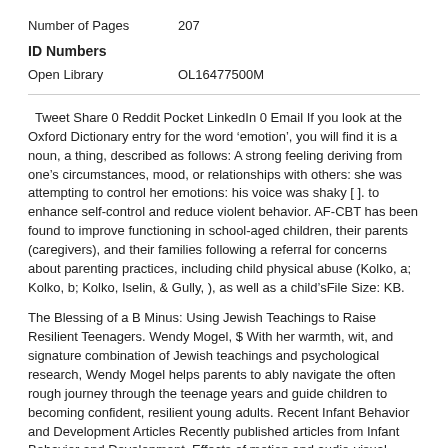Number of Pages    207
ID Numbers
Open Library    OL16477500M
Tweet Share 0 Reddit Pocket LinkedIn 0 Email If you look at the Oxford Dictionary entry for the word ‘emotion’, you will find it is a noun, a thing, described as follows: A strong feeling deriving from one’s circumstances, mood, or relationships with others: she was attempting to control her emotions: his voice was shaky [ ]. to enhance self-control and reduce violent behavior. AF-CBT has been found to improve functioning in school-aged children, their parents (caregivers), and their families following a referral for concerns about parenting practices, including child physical abuse (Kolko, a; Kolko, b; Kolko, Iselin, & Gully, ), as well as a child’sFile Size: KB.
The Blessing of a B Minus: Using Jewish Teachings to Raise Resilient Teenagers. Wendy Mogel, $ With her warmth, wit, and signature combination of Jewish teachings and psychological research, Wendy Mogel helps parents to ably navigate the often rough journey through the teenage years and guide children to becoming confident, resilient young adults. Recent Infant Behavior and Development Articles Recently published articles from Infant Behavior and Development. Effects of motion and audio-visual redundancy on upright and inverted face and feature preferences in month old pre- and full-term NICU graduates.